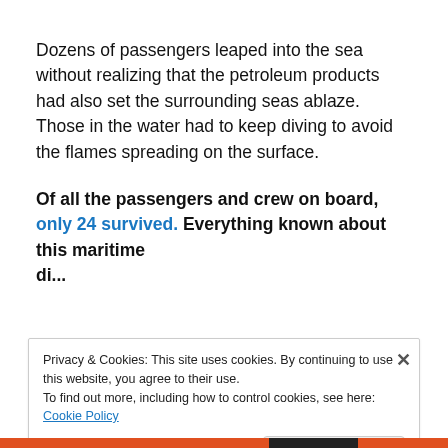Dozens of passengers leaped into the sea without realizing that the petroleum products had also set the surrounding seas ablaze. Those in the water had to keep diving to avoid the flames spreading on the surface.
Of all the passengers and crew on board, only 24 survived. Everything known about this maritime disaster has been learned from the accounts of those...
Privacy & Cookies: This site uses cookies. By continuing to use this website, you agree to their use. To find out more, including how to control cookies, see here: Cookie Policy